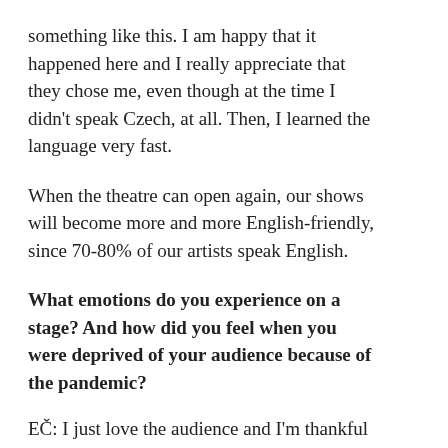something like this. I am happy that it happened here and I really appreciate that they chose me, even though at the time I didn't speak Czech, at all. Then, I learned the language very fast.
When the theatre can open again, our shows will become more and more English-friendly, since 70-80% of our artists speak English.
What emotions do you experience on a stage? And how did you feel when you were deprived of your audience because of the pandemic?
EČ: I just love the audience and I'm thankful to the people for coming to the cabaret. I think it's a special place, not only in Brno but in Europe. It's a typical cabaret, like the Moulin Rouge, with red curtains, red